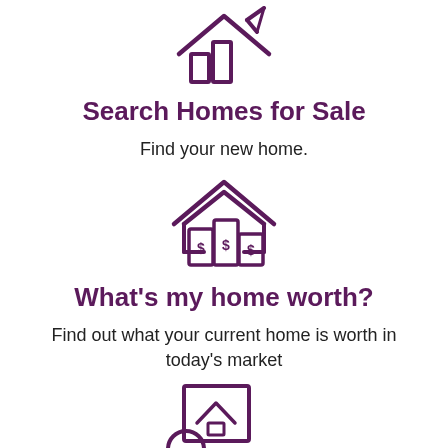[Figure (illustration): Icon of a house with a bar chart and a pencil/key, representing homes for sale search]
Search Homes for Sale
Find your new home.
[Figure (illustration): Icon of a house roof with three dollar-sign currency bars underneath, representing home value]
What's my home worth?
Find out what your current home is worth in today's market
[Figure (illustration): Partial icon at bottom showing a document with a house image and a circular element, representing listing or market report]